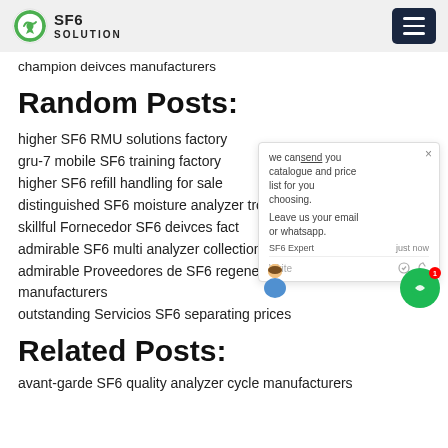SF6 SOLUTION
champion deivces manufacturers
Random Posts:
higher SF6 RMU solutions factory
gru-7 mobile SF6 training factory
higher SF6 refill handling for sale
distinguished SF6 moisture analyzer tro…
skillful Fornecedor SF6 deivces fact…
admirable SF6 multi analyzer collection prices
admirable Proveedores de SF6 regeneration manufacturers
outstanding Servicios SF6 separating prices
[Figure (screenshot): Chat popup widget with message: we can send you catalogue and price list for you choosing. Leave us your email or whatsapp. SF6 Expert just now. Write input area with like and attachment icons.]
Related Posts:
avant-garde SF6 quality analyzer cycle manufacturers